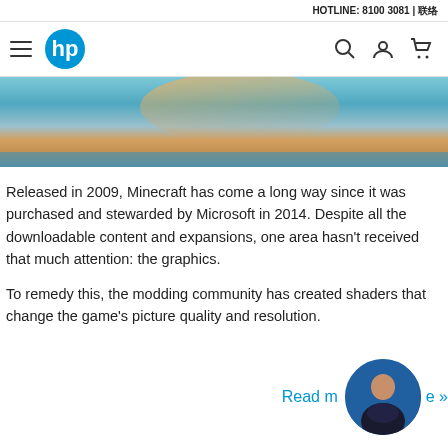HOTLINE: 8100 3081 | 联络
[Figure (screenshot): HP website navigation bar with hamburger menu, HP logo, search icon, user icon, and cart icon]
[Figure (photo): HP website hero banner with blue and orange gradient sky photograph]
Released in 2009, Minecraft has come a long way since it was purchased and stewarded by Microsoft in 2014. Despite all the downloadable content and expansions, one area hasn't received that much attention: the graphics.
To remedy this, the modding community has created shaders that change the game's picture quality and resolution.
Read more »